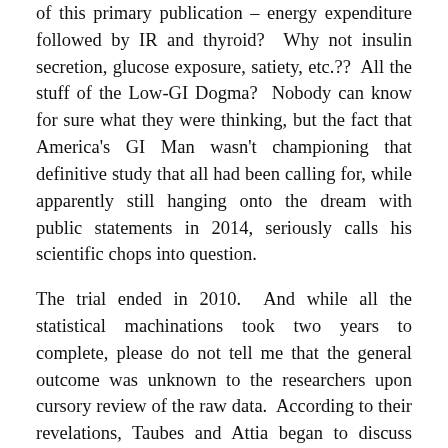of this primary publication – energy expenditure followed by IR and thyroid?  Why not insulin secretion, glucose exposure, satiety, etc.??  All the stuff of the Low-GI Dogma?  Nobody can know for sure what they were thinking, but the fact that America's GI Man wasn't championing that definitive study that all had been calling for, while apparently still hanging onto the dream with public statements in 2014, seriously calls his scientific chops into question.
The trial ended in 2010.  And while all the statistical machinations took two years to complete, please do not tell me that the general outcome was unknown to the researchers upon cursory review of the raw data.  According to their revelations, Taubes and Attia began to discuss things with Ludwig following the results of this "groundbreaking" study in 2012.  Whatever else one might think of that relationship, why is the Low-GI arm still part of the upcoming NuSI funded study?  You cannot compare LGI to LF there – it's not fixed carbohydrate with LGI vs. HGI type.  No, it's 20% protein with